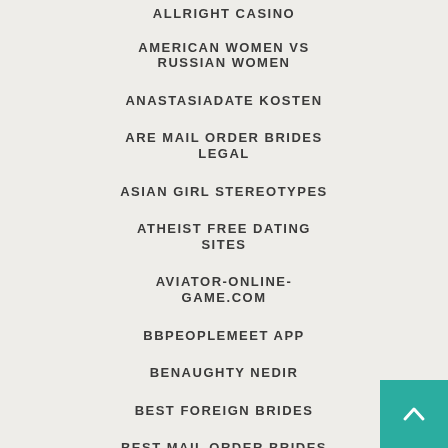ALLRIGHT CASINO
AMERICAN WOMEN VS RUSSIAN WOMEN
ANASTASIADATE KOSTEN
ARE MAIL ORDER BRIDES LEGAL
ASIAN GIRL STEREOTYPES
ATHEIST FREE DATING SITES
AVIATOR-ONLINE-GAME.COM
BBPEOPLEMEET APP
BENAUGHTY NEDIR
BEST FOREIGN BRIDES
BEST MAIL ORDER BRIDES